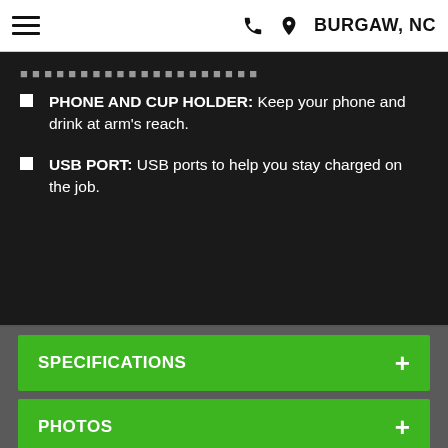BURGAW, NC
PHONE AND CUP HOLDER: Keep your phone and drink at arm's reach.
USB PORT: USB ports to help you stay charged on the job.
SPECIFICATIONS
PHOTOS
PROMOTIONS